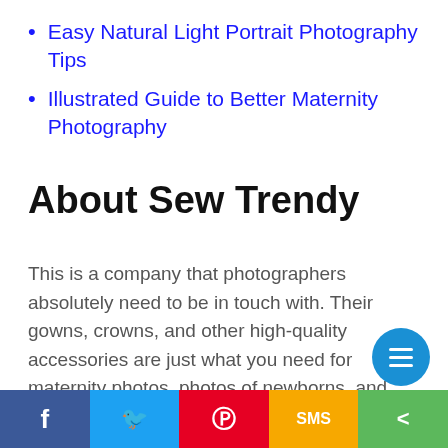Easy Natural Light Portrait Photography Tips
Illustrated Guide to Better Maternity Photography
About Sew Trendy
This is a company that photographers absolutely need to be in touch with. Their gowns, crowns, and other high-quality accessories are just what you need for maternity photos, photos of newborns, and mommy and me sessions. These accessories not only make your clients look and feel great, but they also add a depth of detail and interest to your photos that elevate the im…o